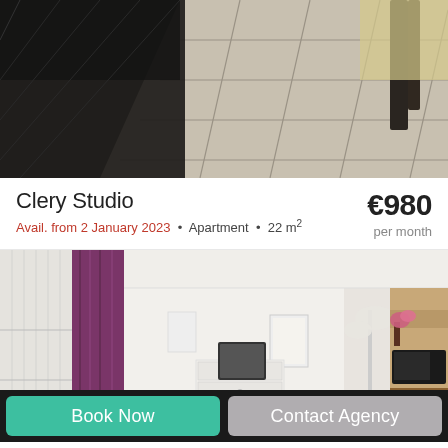[Figure (photo): Top-down/angled view of a tiled floor with dark metal furniture legs, light beige tile with dark grout lines and a partial view of what appears to be a chair with light cushion.]
Clery Studio
Avail. from 2 January 2023 · Apartment · 22 m²
€980 per month
[Figure (photo): Interior photo of a studio apartment showing purple curtains on a tall window, white walls, a white chest of drawers with a small TV, a floor lamp, framed pictures on the wall, pink flowers, wooden kitchen cabinets on the right, a microwave, and a small bar/counter area.]
Book Now
Contact Agency